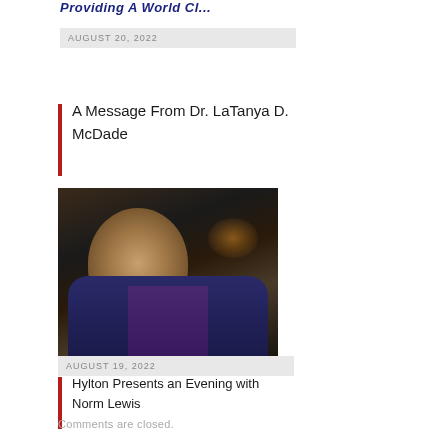Providing A World Cl...
AUGUST 20, 2022
A Message From Dr. LaTanya D. McDade
[Figure (photo): Portrait photo of a smiling man wearing a dark blue blazer over a purple shirt, photographed against a dark background with a warm golden light visible in the background.]
AUGUST 19, 2022
Hylton Presents an Evening with Norm Lewis
Comments are closed.